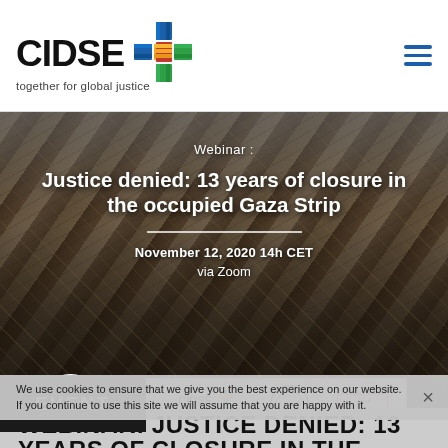CIDSE together for global justice
[Figure (photo): Rubble and destruction in the occupied Gaza Strip, used as hero banner background image for a webinar about 13 years of closure]
Webinar : Justice denied: 13 years of closure in the occupied Gaza Strip
November 12, 2020 14h CET
via Zoom
[Figure (logo): Row of organization logos: circular globe logo, text logo, CIDSE logo, and two other organization logos]
EVENT
We use cookies to ensure that we give you the best experience on our website. If you continue to use this site we will assume that you are happy with it.
WEBINAR: JUSTICE DENIED: 13 YEARS OF CLOSURE IN THE